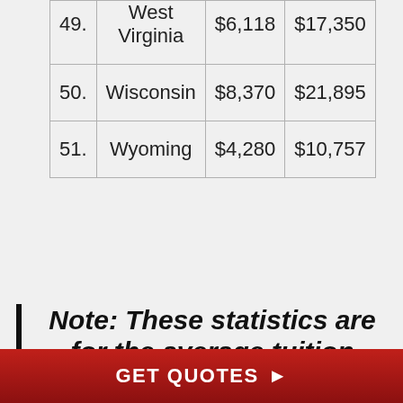| # | State | In-State | Out-of-State |
| --- | --- | --- | --- |
| 49. | West Virginia | $6,118 | $17,350 |
| 50. | Wisconsin | $8,370 | $21,895 |
| 51. | Wyoming | $4,280 | $10,757 |
Note: These statistics are for the average tuition costs of a public institution. If you choose
GET QUOTES ▶